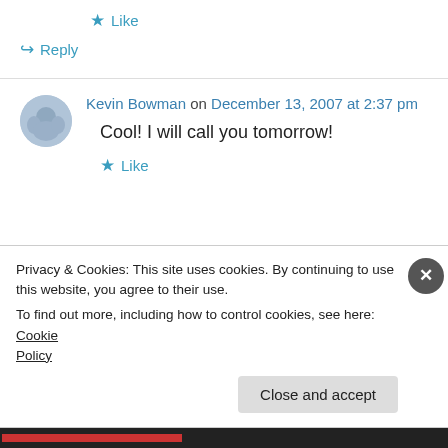★ Like
↪ Reply
Kevin Bowman on December 13, 2007 at 2:37 pm
Cool! I will call you tomorrow!
★ Like
Privacy & Cookies: This site uses cookies. By continuing to use this website, you agree to their use.
To find out more, including how to control cookies, see here: Cookie Policy
Close and accept